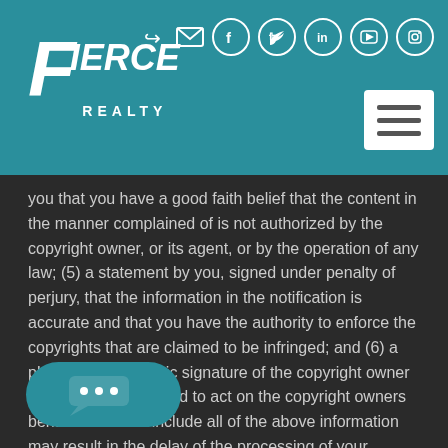[Figure (logo): Fierce Realty logo in white on teal header, with social media icons and hamburger menu button]
you that you have a good faith belief that the content in the manner complained of is not authorized by the copyright owner, or its agent, or by the operation of any law; (5) a statement by you, signed under penalty of perjury, that the information in the notification is accurate and that you have the authority to enforce the copyrights that are claimed to be infringed; and (6) a physical or electronic signature of the copyright owner or a person authorized to act on the copyright owners behalf. Failure to include all of the above information may result in the delay of the processing of your complaint.
[Figure (illustration): Teal chat/message button with three dots indicating a chat widget]